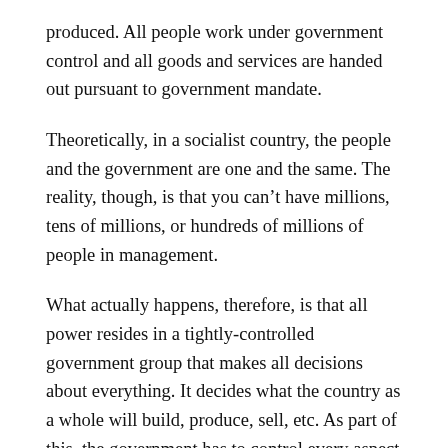produced.  All people work under government control and all goods and services are handed out pursuant to government mandate.
Theoretically, in a socialist country, the people and the government are one and the same. The reality, though, is that you can’t have millions, tens of millions, or hundreds of millions of people in management.
What actually happens, therefore, is that all power resides in a tightly-controlled government group that makes all decisions about everything.  It decides what the country as a whole will build, produce, sell, etc.  As part of this, the government has to control every aspect of citizens’ lives, in order to make sure that its social and economic goals are met.
Over the last 100 years, socialism has taken on many guises,